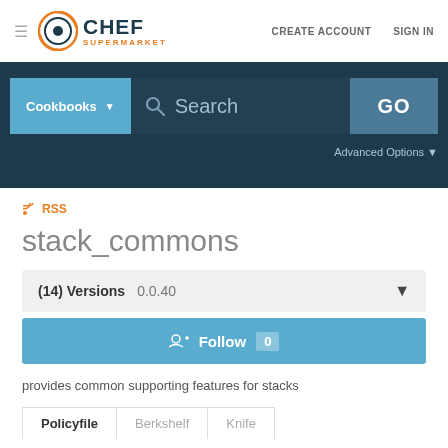[Figure (logo): Chef Supermarket logo with orange circular icon and dark blue text]
CREATE ACCOUNT   SIGN IN
[Figure (screenshot): Search bar with Cookbooks dropdown, Search input field, and GO button on dark blue background]
Advanced Options
RSS
stack_commons
(14) Versions   0.0.40
Follow  0
provides common supporting features for stacks
Policyfile   Berkshelf   Knife